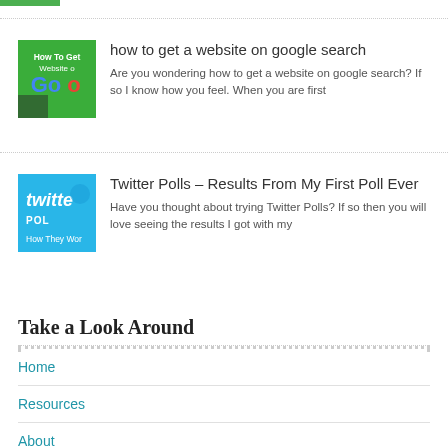[Figure (other): Small green button/bar at top left]
[Figure (illustration): Thumbnail image with green background showing text 'How To Get Website on Google']
how to get a website on google search
Are you wondering how to get a website on google search? If so I know how you feel. When you are first
[Figure (illustration): Thumbnail image with blue background showing Twitter Polls text]
Twitter Polls – Results From My First Poll Ever
Have you thought about trying Twitter Polls?  If so then you will love seeing the results I got with my
Take a Look Around
Home
Resources
About